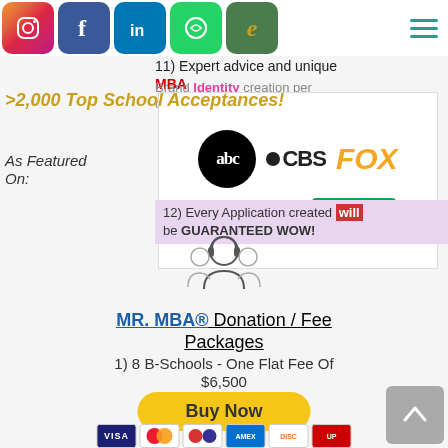[Figure (infographic): Social media icons row: Instagram, Facebook, LinkedIn, WhatsApp, Cents/e logo, and hamburger menu icon]
10) Actual MBA Admissions Committee Experience
11) Expert advice and unique MBA Brand Identity creation per candidate
>2,000 Top School Acceptances!
As Featured On:
[Figure (logo): Media logos: ABC, CBS, FOX, NBC, The CW]
12) Every Application created will be GUARANTEED WOW!
[Figure (illustration): Customer support / advisor icon showing person with headset]
MR. MBA® Donation / Fee Packages
1) 8 B-Schools - One Flat Fee Of $6,500
[Figure (infographic): Buy Now button (yellow/gold, rounded rectangle)]
[Figure (infographic): Payment method icons: VISA, Mastercard, Maestro, American Express, Discover, UnionPay]